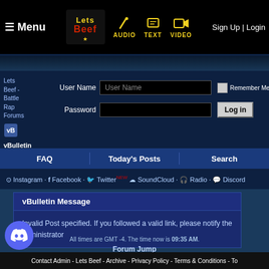Menu | AUDIO | TEXT | VIDEO | Sign Up | Login
Lets Beef - Battle Rap Forums
vBulletin Message
User Name | Password | Log in | Remember Me
FAQ | Today's Posts | Search
Instagram · Facebook · Twitter NEW SoundCloud · Radio · Discord
vBulletin Message
Invalid Post specified. If you followed a valid link, please notify the administrator
Forum Jump
User Control F  Go
All times are GMT -4. The time now is 09:35 AM.
Contact Admin - Lets Beef - Archive - Privacy Policy - Terms & Conditions - To